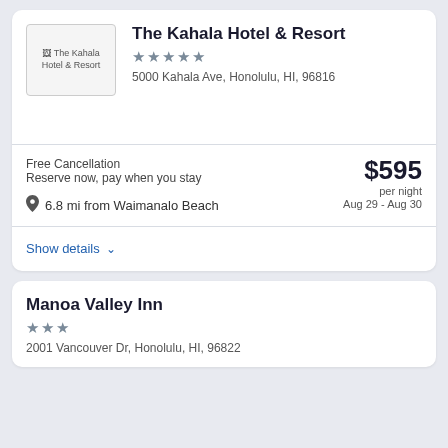[Figure (logo): The Kahala Hotel & Resort logo placeholder]
The Kahala Hotel & Resort
★★★★★
5000 Kahala Ave, Honolulu, HI, 96816
Free Cancellation
Reserve now, pay when you stay
$595 per night
Aug 29 - Aug 30
6.8 mi from Waimanalo Beach
Show details
Manoa Valley Inn
★★★
2001 Vancouver Dr, Honolulu, HI, 96822